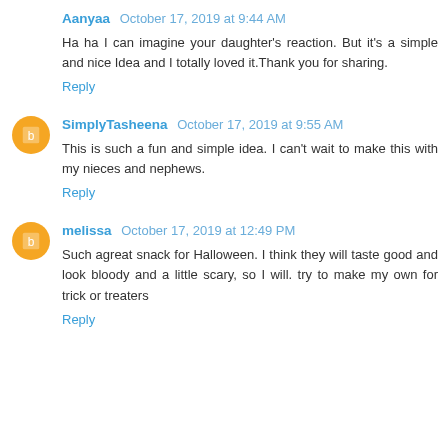Aanyaa  October 17, 2019 at 9:44 AM
Ha ha I can imagine your daughter's reaction. But it's a simple and nice Idea and I totally loved it.Thank you for sharing.
Reply
SimplyTasheena  October 17, 2019 at 9:55 AM
This is such a fun and simple idea. I can't wait to make this with my nieces and nephews.
Reply
melissa  October 17, 2019 at 12:49 PM
Such agreat snack for Halloween. I think they will taste good and look bloody and a little scary, so I will. try to make my own for trick or treaters
Reply